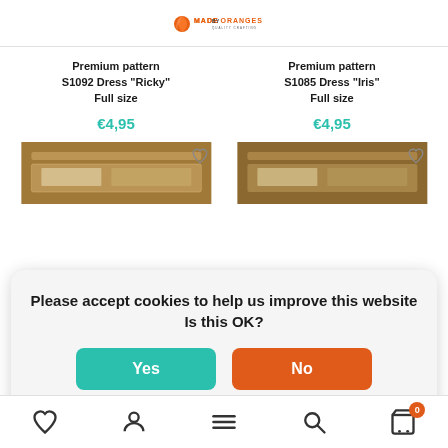MADE BY ORANGES — Quality Crafting
Premium pattern S1092 Dress "Ricky" Full size
€4,95
Premium pattern S1085 Dress "Iris" Full size
€4,95
[Figure (photo): Product image of a sewing pattern package on wooden background]
[Figure (photo): Product image of a sewing pattern package on wooden background]
Please accept cookies to help us improve this website Is this OK? Yes No More on cookies »
Bottom navigation bar with wishlist, account, menu, search, and cart icons